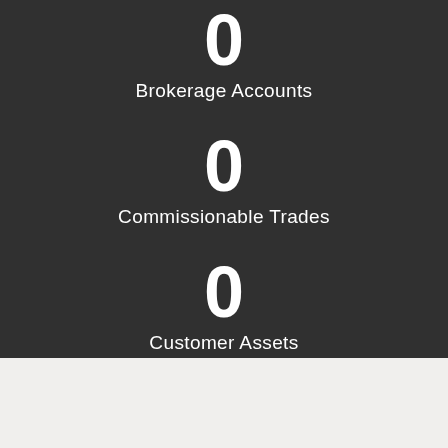[Figure (photo): Dark background photo showing a smartphone, smartwatch, and financial charts on a desk, overlaid with semi-transparent dark layer]
0
Brokerage Accounts
0
Commissionable Trades
0
Customer Assets